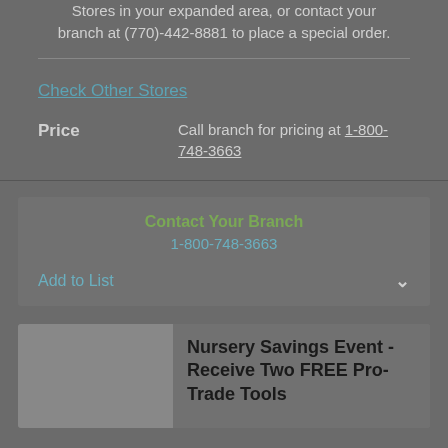Stores in your expanded area, or contact your branch at (770)-442-8881 to place a special order.
Check Other Stores
Price
Call branch for pricing at 1-800-748-3663
Contact Your Branch
1-800-748-3663
Add to List
Nursery Savings Event - Receive Two FREE Pro-Trade Tools